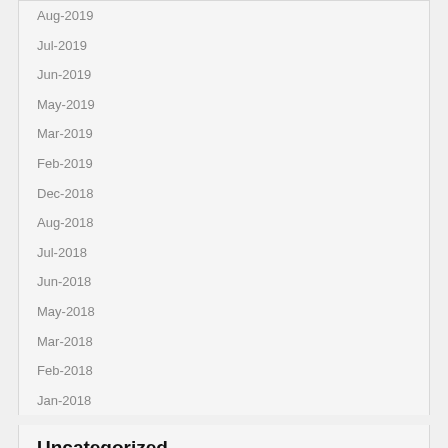Aug-2019
Jul-2019
Jun-2019
May-2019
Mar-2019
Feb-2019
Dec-2018
Aug-2018
Jul-2018
Jun-2018
May-2018
Mar-2018
Feb-2018
Jan-2018
Uncategorized
Mar-2022